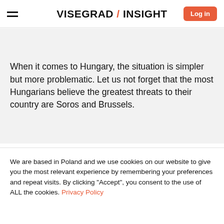VISEGRAD / INSIGHT | Log in
When it comes to Hungary, the situation is simpler but more problematic. Let us not forget that the most Hungarians believe the greatest threats to their country are Soros and Brussels.
We are based in Poland and we use cookies on our website to give you the most relevant experience by remembering your preferences and repeat visits. By clicking "Accept", you consent to the use of ALL the cookies. Privacy Policy
ACCEPT